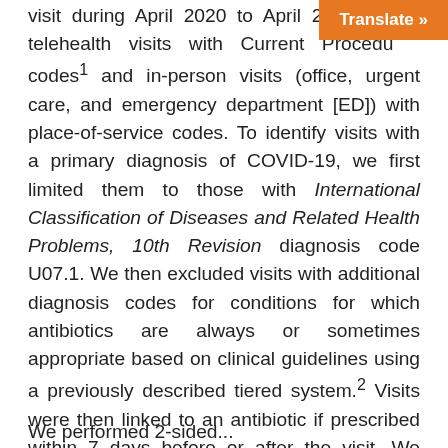visit during April 2020 to April 2021 telehealth visits with Current Procedural codes¹ and in-person visits (office, urgent care, and emergency department [ED]) with place-of-service codes. To identify visits with a primary diagnosis of COVID-19, we first limited them to those with International Classification of Diseases and Related Health Problems, 10th Revision diagnosis code U07.1. We then excluded visits with additional diagnosis codes for conditions for which antibiotics are always or sometimes appropriate based on clinical guidelines using a previously described tiered system.² Visits were then linked to an antibiotic if prescribed within 7 days before or after the visit. We reported visits by setting and month, including antibiotic classes.
We performed 2-sided...